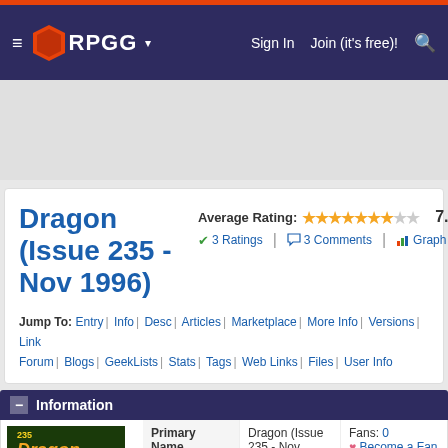RPGG — Sign In | Join (it's free)! | Search
Dragon (Issue 235 - Nov 1996)
Average Rating: 7.00/10 | 3 Ratings | 3 Comments | Graph
Jump To: Entry | Info | Desc | Articles | Marketplace | More Info | Versions | Links | Forum | Blogs | GeekLists | Stats | Tags | Web Links | Files | User Info
Information
| Primary Name | Value | Fans |
| --- | --- | --- |
| Primary Name | Dragon (Issue 235 - Nov 1996) | Fans: 0 | Become a Fan |
| Alternate Names |  |  |